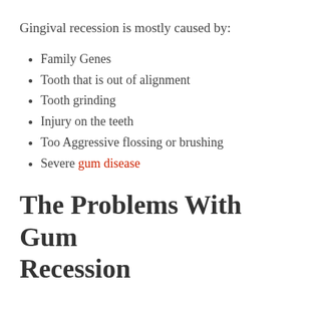Gingival recession is mostly caused by:
Family Genes
Tooth that is out of alignment
Tooth grinding
Injury on the teeth
Too Aggressive flossing or brushing
Severe gum disease
The Problems With Gum Recession